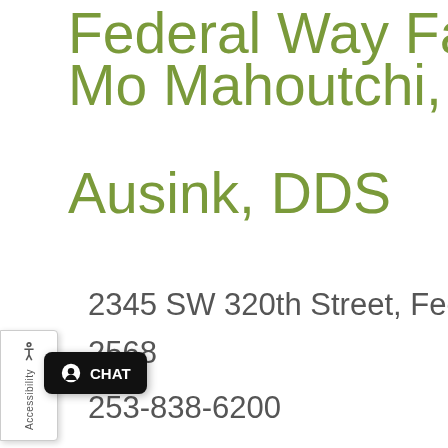Federal Way Family... Mo Mahoutchi, DMD Ausink, DDS
2345 SW 320th Street, Fed... 2568
253-838-6200
...bert J. Malone D...
[Figure (other): Accessibility widget on left side with wheelchair icon and 'Accessibility' text rotated vertically]
[Figure (other): Black chat button with person icon and 'CHAT' text]